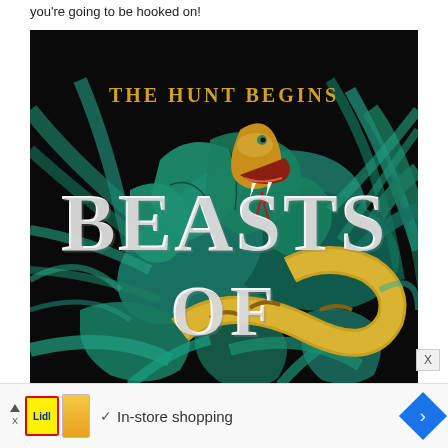you're going to be hooked on!
[Figure (illustration): Book cover for 'Beasts Of' with subtitle 'The Hunt Begins'. Dark background with a striking yellow and brown snake with open mouth surrounded by teal and green tropical leaves. Large white serif text reads 'BEASTS' and 'OF'. 'THE HUNT BEGINS' appears in gold/yellow uppercase text at the top.]
X
In-store shopping